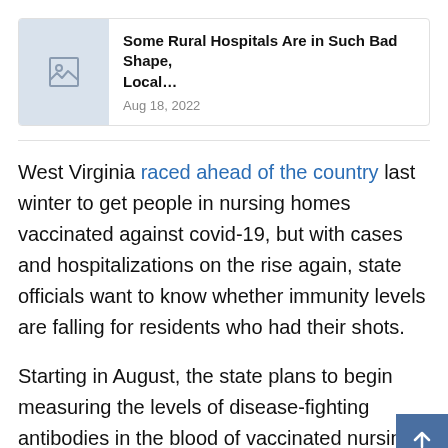[Figure (other): Thumbnail card with a placeholder image icon, article title 'Some Rural Hospitals Are in Such Bad Shape, Local...' and date 'Aug 18, 2022']
West Virginia raced ahead of the country last winter to get people in nursing homes vaccinated against covid-19, but with cases and hospitalizations on the rise again, state officials want to know whether immunity levels are falling for residents who had their shots.
Starting in August, the state plans to begin measuring the levels of disease-fighting antibodies in the blood of vaccinated nursing home residents, which could help indicate whether they need a booster shot. The process will be voluntary and the data will be shared with federal health agencies evaluating the need for